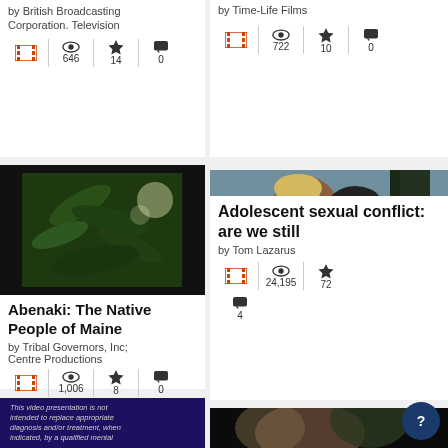by British Broadcasting Corporation. Television
646 views, 14 favorites, 0 comments
by Time-Life Films
722 views, 10 favorites, 0 comments
[Figure (photo): Close-up of green plant leaves with light filtering through]
Abenaki: The Native People of Maine
by Tribal Governors, Inc; Centre Productions
1,006 views, 8 favorites, 0 comments
[Figure (photo): Two people, a young man and woman, close together outdoors]
Adolescent sexual conflict: are we still
by Tom Lazarus
24,195 views, 72 favorites, 4 comments
[Figure (photo): Dark title card reading: This video presentation is not intended to replace appropriate diagnosis and/or treatment, when indicated, by a qualified mental health professional or physician.]
[Figure (photo): Close-up blurred outdoor scene with people]